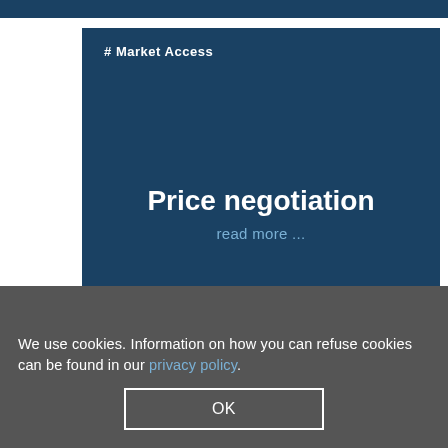# Market Access
Price negotiation
read more ...
We use cookies. Information on how you can refuse cookies can be found in our privacy policy.
OK